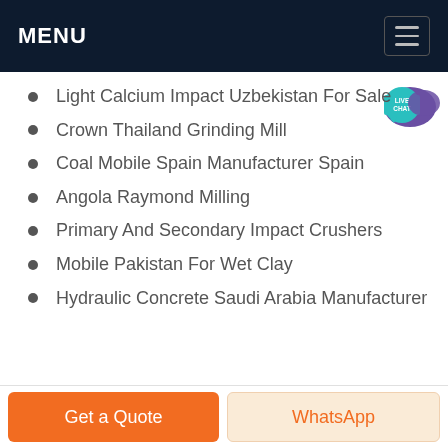MENU
Light Calcium Impact Uzbekistan For Sale
Crown Thailand Grinding Mill
Coal Mobile Spain Manufacturer Spain
Angola Raymond Milling
Primary And Secondary Impact Crushers
Mobile Pakistan For Wet Clay
Hydraulic Concrete Saudi Arabia Manufacturer
[Figure (illustration): Live Chat speech bubble badge in teal/purple]
Get a Quote
WhatsApp